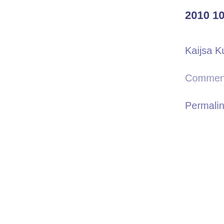2010 10 2
Kaijsa Kurst
Comments O
Permalink